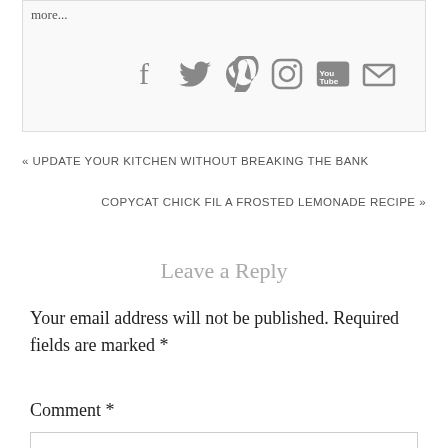more...
[Figure (infographic): Social media icons: Facebook, Twitter, Pinterest, Instagram, YouTube, Email]
« UPDATE YOUR KITCHEN WITHOUT BREAKING THE BANK
COPYCAT CHICK FIL A FROSTED LEMONADE RECIPE »
Leave a Reply
Your email address will not be published. Required fields are marked *
Comment *